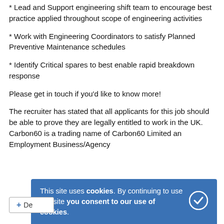* Lead and Support engineering shift team to encourage best practice applied throughout scope of engineering activities
* Work with Engineering Coordinators to satisfy Planned Preventive Maintenance schedules
* Identify Critical spares to best enable rapid breakdown response
Please get in touch if you'd like to know more!
The recruiter has stated that all applicants for this job should be able to prove they are legally entitled to work in the UK. Carbon60 is a trading name of Carbon60 Limited an Employment Business/Agency
This site uses cookies. By continuing to use this site you consent to our use of cookies.
+ De...